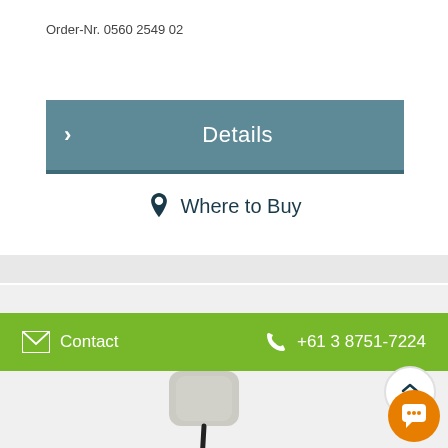Order-Nr. 0560 2549 02
Details
Where to Buy
[Figure (photo): Product photo of a handheld measurement device/probe with cable, gray and gold colored body]
Contact   +61 3 8751-7224